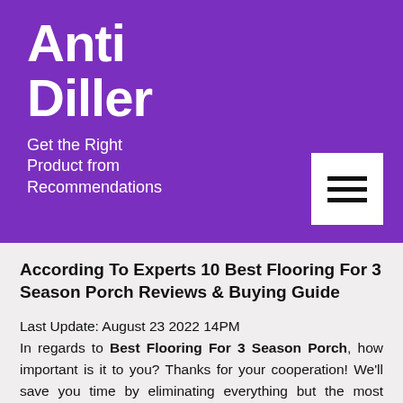Anti Diller
Get the Right Product from Recommendations
According To Experts 10 Best Flooring For 3 Season Porch Reviews & Buying Guide
Last Update: August 23 2022 14PM
In regards to Best Flooring For 3 Season Porch, how important is it to you? Thanks for your cooperation! We'll save you time by eliminating everything but the most important reviews.